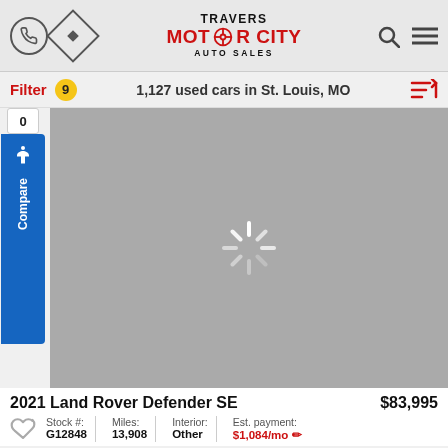TRAVERS MOTOR CITY AUTO SALES
Filter 9   1,127 used cars in St. Louis, MO
[Figure (screenshot): Loading spinner on grey background — car image loading state]
2021 Land Rover Defender SE   $83,995
| Stock #: | Miles: | Interior: | Est. payment: |
| --- | --- | --- | --- |
| G12848 | 13,908 | Other | $1,084/mo |